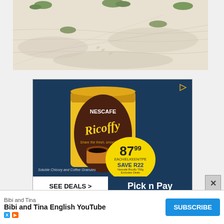[Figure (photo): Top portion of a sandy beach landscape with sparse green vegetation on white sand dunes, seen from above]
[Figure (photo): Advertisement for Nescafe Ricoffy coffee on dark blue background. Shows a yellow tin can with 'Nescafe Ricoffy - Share the fresh, smooth taste' text, a cup of coffee, price badge showing 87.99 with SAVE R22 promotion, TV badge, and 'SEE DEALS > Pick n Pay' bar at bottom]
SEE DEALS >
Pick n Pay
[Figure (screenshot): Bottom subscribe bar: Bibi and Tina / Bibi and Tina English YouTube with SUBSCRIBE button and X/YouTube icons]